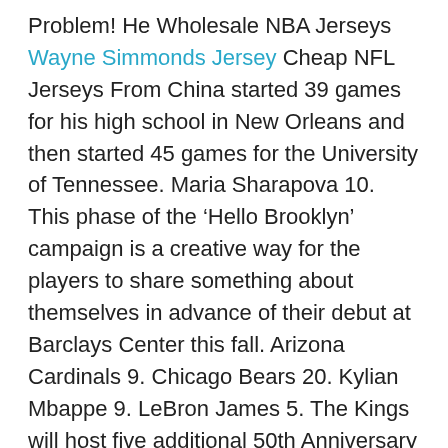Problem! He Wholesale NBA Jerseys Wayne Simmonds Jersey Cheap NFL Jerseys From China started 39 games for his high school in New Orleans and then started 45 games for the University of Tennessee. Maria Sharapova 10. This phase of the ‘Hello Brooklyn’ campaign is a creative way for the players to share something about themselves in advance of their debut at Barclays Center this fall. Arizona Cardinals 9. Chicago Bears 20. Kylian Mbappe 9. LeBron James 5. The Kings will host five additional 50th Anniversary Heritage Nights recognizing six former All-Stars over five Saturday home games. Tom Brady 8. Serena Williams 3. With cutting-edge enhancements, MMOD is certain to provide our fans with an incredible online experience